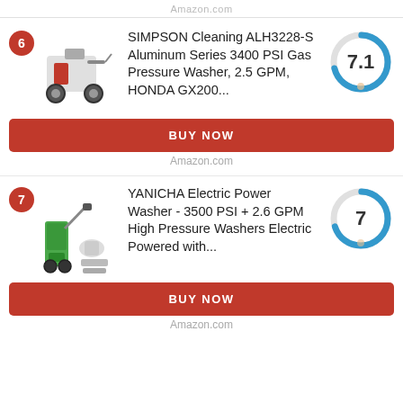Amazon.com
[Figure (photo): Product listing card for SIMPSON Cleaning ALH3228-S Aluminum Series 3400 PSI Gas Pressure Washer with score 7.1]
SIMPSON Cleaning ALH3228-S Aluminum Series 3400 PSI Gas Pressure Washer, 2.5 GPM, HONDA GX200...
BUY NOW
Amazon.com
[Figure (photo): Product listing card for YANICHA Electric Power Washer - 3500 PSI + 2.6 GPM High Pressure Washers Electric Powered with score 7]
YANICHA Electric Power Washer - 3500 PSI + 2.6 GPM High Pressure Washers Electric Powered with...
BUY NOW
Amazon.com